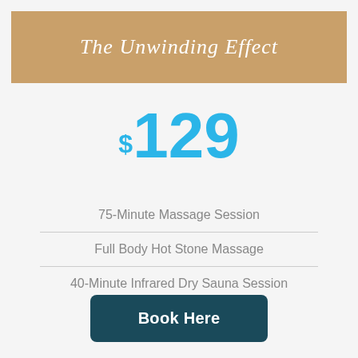The Unwinding Effect
$129
75-Minute Massage Session
Full Body Hot Stone Massage
40-Minute Infrared Dry Sauna Session
Book Here